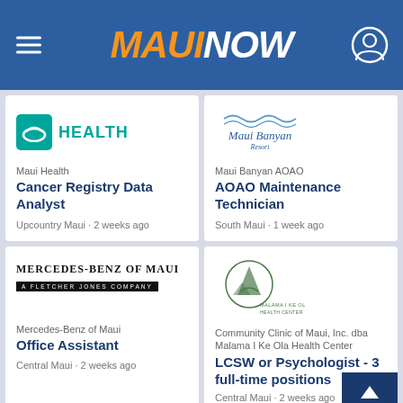MAUI NOW
[Figure (logo): Maui Health logo with teal icon and HEALTH text]
Maui Health
Cancer Registry Data Analyst
Upcountry Maui · 2 weeks ago
[Figure (logo): Maui Banyan Resort logo with wave/mountain graphic]
Maui Banyan AOAO
AOAO Maintenance Technician
South Maui · 1 week ago
[Figure (logo): Mercedes-Benz of Maui, A Fletcher Jones Company logo]
Mercedes-Benz of Maui
Office Assistant
Central Maui · 2 weeks ago
[Figure (logo): Malama I Ke Ola Health Center logo with green mountain/hands graphic]
Community Clinic of Maui, Inc. dba Malama I Ke Ola Health Center
LCSW or Psychologist - 3 full-time positions
Central Maui · 2 weeks ago